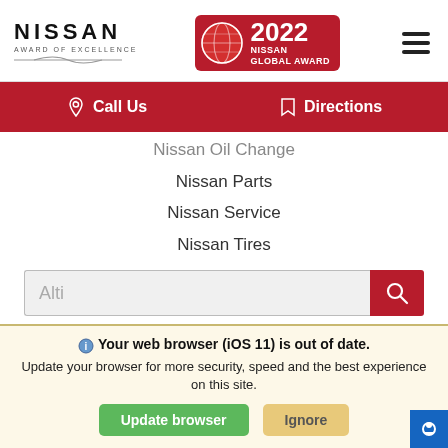NISSAN AWARD OF EXCELLENCE | 2022 NISSAN GLOBAL AWARD
[Figure (screenshot): Red navigation bar with Call Us and Directions links]
Nissan Oil Change
Nissan Parts
Nissan Service
Nissan Tires
[Figure (screenshot): Search input field with text 'Alti' and red search button]
Connect with us
[Figure (screenshot): Social media icons: Facebook, Twitter, Instagram, YouTube]
Websites Powered By
Your web browser (iOS 11) is out of date. Update your browser for more security, speed and the best experience on this site.